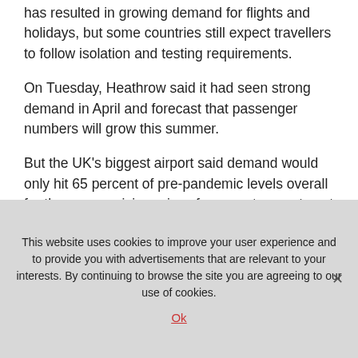has resulted in growing demand for flights and holidays, but some countries still expect travellers to follow isolation and testing requirements.
On Tuesday, Heathrow said it had seen strong demand in April and forecast that passenger numbers will grow this summer.
But the UK’s biggest airport said demand would only hit 65 percent of pre-pandemic levels overall for the year as rising prices force customers to cut
This website uses cookies to improve your user experience and to provide you with advertisements that are relevant to your interests. By continuing to browse the site you are agreeing to our use of cookies.
Ok